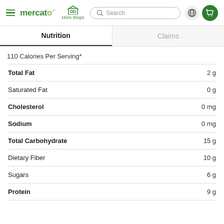mercato — More shops — Search — navigation header
Nutrition
Claims
110 Calories Per Serving*
| Nutrient | Amount |
| --- | --- |
| Total Fat | 2 g |
| Saturated Fat | 0 g |
| Cholesterol | 0 mg |
| Sodium | 0 mg |
| Total Carbohydrate | 15 g |
| Dietary Fiber | 10 g |
| Sugars | 6 g |
| Protein | 9 g |